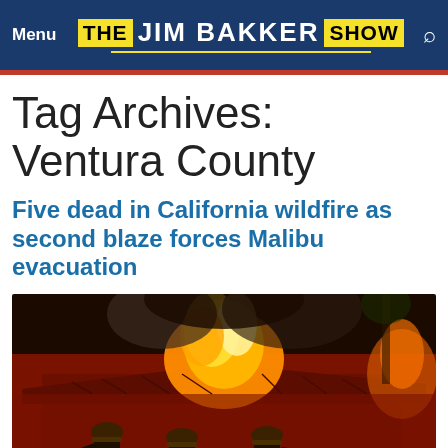Menu THE JIM BAKKER SHOW
Tag Archives: Ventura County
Five dead in California wildfire as second blaze forces Malibu evacuation
[Figure (photo): Firefighters in full gear standing in front of a building engulfed in flames at night, with intense orange fire and red-lit smoke visible]